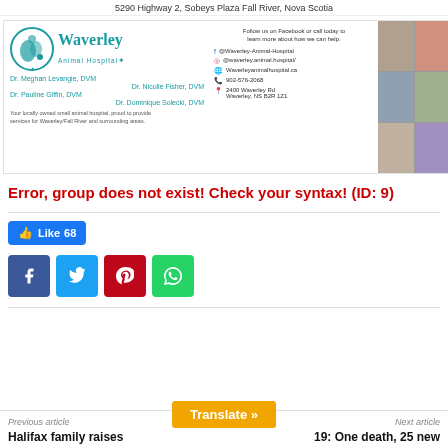5290 Highway 2, Sobeys Plaza Fall River, Nova Scotia
[Figure (infographic): Waverley Animal Hospital advertisement banner with logo, doctor names, contact info, and photo collage]
Error, group does not exist! Check your syntax! (ID: 9)
[Figure (infographic): Facebook Like button showing 68 likes, and social media share buttons for Facebook, Twitter, Pinterest, and WhatsApp]
Previous article
Next article
Halifax family raises
19: One death, 25 new
[Figure (other): Translate button overlay]